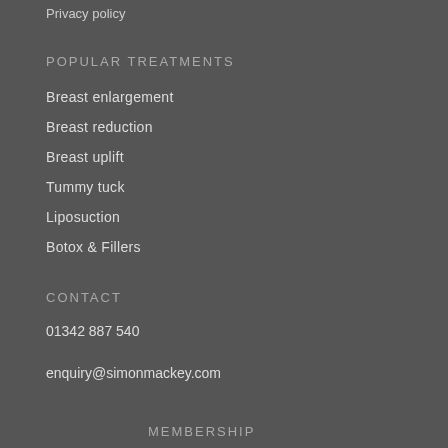Privacy policy
POPULAR TREATMENTS
Breast enlargement
Breast reduction
Breast uplift
Tummy tuck
Liposuction
Botox & Fillers
CONTACT
01342 887 540
enquiry@simonmackey.com
MEMBERSHIP